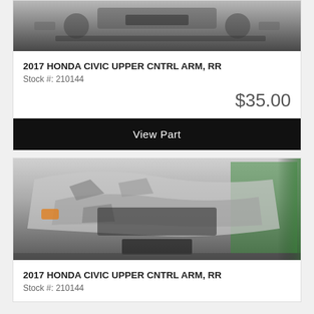[Figure (photo): Damaged car undercarriage/engine area on lift, top portion of product listing image]
2017 HONDA CIVIC UPPER CNTRL ARM, RR
Stock #: 210144
$35.00
View Part
[Figure (photo): Damaged white Honda Civic front end, heavily wrecked, on lift with green dumpster in background]
2017 HONDA CIVIC UPPER CNTRL ARM, RR
Stock #: 210144